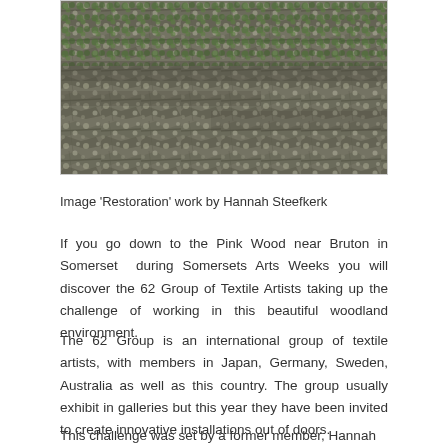[Figure (photo): Close-up photograph of tree bark covered with lichen and moss, grey rocky texture with green moss patches visible at top]
Image ‘Restoration’ work by Hannah Steefkerk
If you go down to the Pink Wood near Bruton in Somerset during Somersets Arts Weeks you will discover the 62 Group of Textile Artists taking up the challenge of working in this beautiful woodland environment.
The 62 Group is an international group of textile artists, with members in Japan, Germany, Sweden, Australia as well as this country. The group usually exhibit in galleries but this year they have been invited to create innovative installations out of doors.
This challenge was set by a former member, Hannah